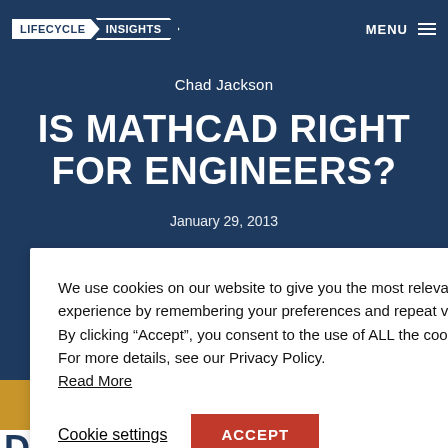LIFECYCLE INSIGHTS | MENU
Chad Jackson
IS MATHCAD RIGHT FOR ENGINEERS?
January 29, 2013
ring Calculations |
We use cookies on our website to give you the most relevant experience by remembering your preferences and repeat visits. By clicking “Accept”, you consent to the use of ALL the cookies. For more details, see our Privacy Policy. Read More
Cookie settings
ACCEPT